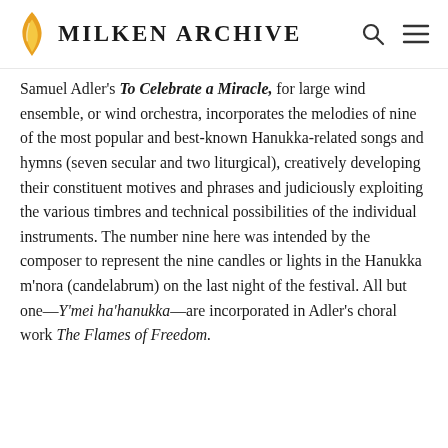Milken Archive
Samuel Adler's To Celebrate a Miracle, for large wind ensemble, or wind orchestra, incorporates the melodies of nine of the most popular and best-known Hanukka-related songs and hymns (seven secular and two liturgical), creatively developing their constituent motives and phrases and judiciously exploiting the various timbres and technical possibilities of the individual instruments. The number nine here was intended by the composer to represent the nine candles or lights in the Hanukka m'nora (candelabrum) on the last night of the festival. All but one—Y'mei ha'hanukka—are incorporated in Adler's choral work The Flames of Freedom.